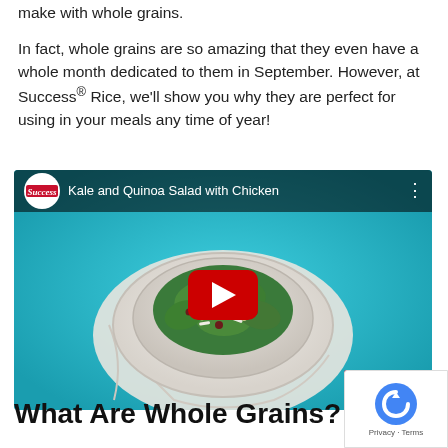make with whole grains.
In fact, whole grains are so amazing that they even have a whole month dedicated to them in September. However, at Success® Rice, we'll show you why they are perfect for using in your meals any time of year!
[Figure (screenshot): YouTube video thumbnail for 'Kale and Quinoa Salad with Chicken' by Success Rice. Shows a bowl of kale and quinoa salad on a teal background with a red YouTube play button in the center and the Success logo in the bottom right corner.]
What Are Whole Grains?